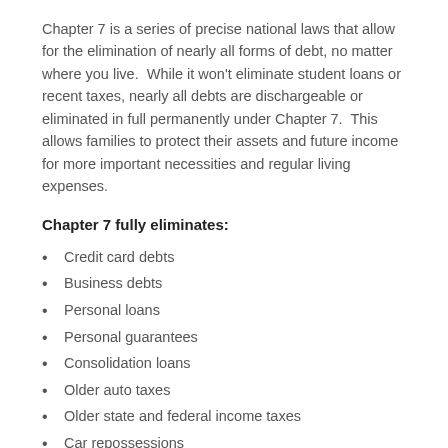Chapter 7 is a series of precise national laws that allow for the elimination of nearly all forms of debt, no matter where you live.  While it won't eliminate student loans or recent taxes, nearly all debts are dischargeable or eliminated in full permanently under Chapter 7.  This allows families to protect their assets and future income for more important necessities and regular living expenses.
Chapter 7 fully eliminates:
Credit card debts
Business debts
Personal loans
Personal guarantees
Consolidation loans
Older auto taxes
Older state and federal income taxes
Car repossessions